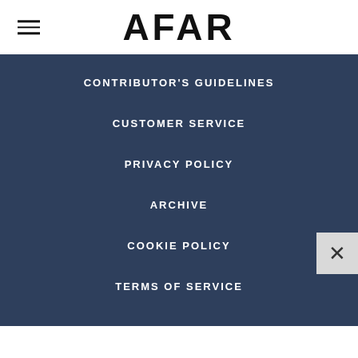AFAR
CONTRIBUTOR'S GUIDELINES
CUSTOMER SERVICE
PRIVACY POLICY
ARCHIVE
COOKIE POLICY
TERMS OF SERVICE